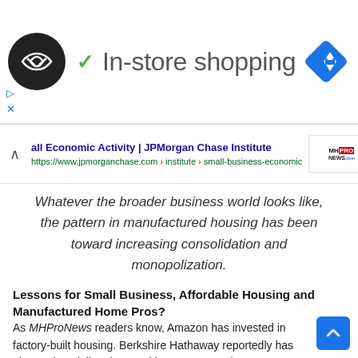[Figure (screenshot): Ad banner with circular logo, checkmark icon, 'In-store shopping' text, and blue diamond navigation icon]
[Figure (screenshot): Google search result row showing JPMorgan Chase Institute link with MHPRO News logo thumbnail and chevron up icon]
Whatever the broader business world looks like, the pattern in manufactured housing has been toward increasing consolidation and monopolization.
Lessons for Small Business, Affordable Housing and Manufactured Home Pros?
As MHProNews readers know, Amazon has invested in factory-built housing. Berkshire Hathaway reportedly has about a b… dollars invested in Amazon stocks. Warren Buffett, Amazon's Jeff